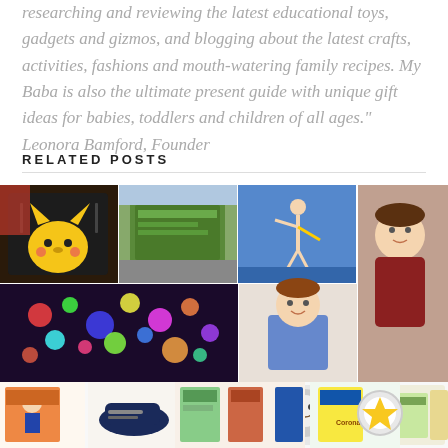researching and reviewing the latest educational toys, gadgets and gizmos, and blogging about the latest crafts, activities, fashions and mouth-watering family recipes. My Baba is also the ultimate present guide with unique gift ideas for babies, toddlers and children of all ages." Leonora Bamford, Founder
RELATED POSTS
[Figure (photo): Grid of related post images including Pikachu bag, outdoor event banner, gymnastics, colorful lights display, doll, baby bottles in various colors, toy/product box, baby care products, children's snacks/food items, children's shoes, books/activity sets, and a child in red sweater]